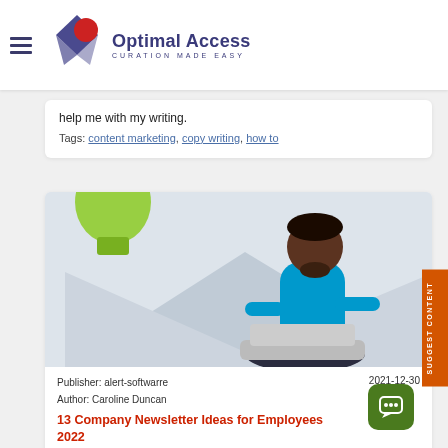Optimal Access — Curation Made Easy
help me with my writing.
Tags: content marketing, copy writing, how to
[Figure (illustration): Illustration of a person with dark skin sitting cross-legged working on a laptop, with a light bulb graphic in the background]
Publisher: alert-softwarre   2021-12-30
Author: Caroline Duncan
13 Company Newsletter Ideas for Employees 2022